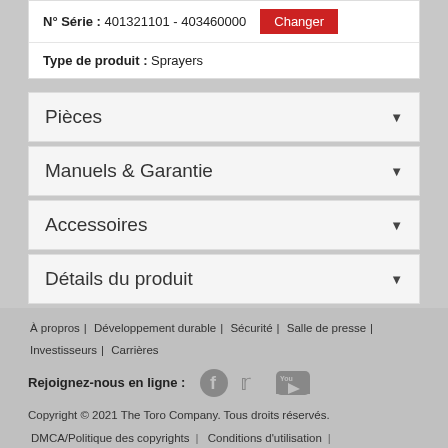N° Série : 401321101 - 403460000 [Changer]
Type de produit : Sprayers
Pièces
Manuels & Garantie
Accessoires
Détails du produit
À propros | Développement durable | Sécurité | Salle de presse | Investisseurs | Carrières
Rejoignez-nous en ligne : [Facebook] [Twitter] [YouTube]
Copyright © 2021 The Toro Company. Tous droits réservés.
DMCA/Politique des copyrights | Conditions d'utilisation | Politique de confidentialité